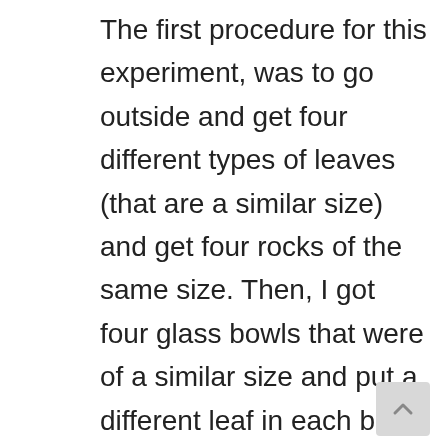The first procedure for this experiment, was to go outside and get four different types of leaves (that are a similar size) and get four rocks of the same size. Then, I got four glass bowls that were of a similar size and put a different leaf in each bowl. Next, I placed a rock on every leaf in the bowl and took all of the bowls outside into the sunlight. You should be able to go inside and keep them in the sunlight for two hours. Lastly, you have to go through on every leaf and count how many bubbles are on it (using a